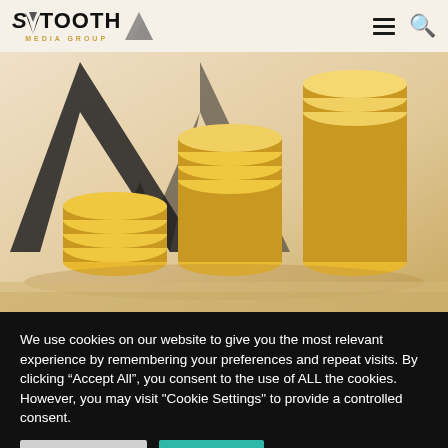SAWTOOTH MEDIA GROUP — navigation header with hamburger menu and search icon
[Figure (photo): Three stacks of gold/yellow coins of increasing height arranged left to right, with a dark geometric arrow shape (like a descending sawtooth) in the background, on a warm beige background.]
We use cookies on our website to give you the most relevant experience by remembering your preferences and repeat visits. By clicking “Accept All”, you consent to the use of ALL the cookies. However, you may visit "Cookie Settings" to provide a controlled consent.
Cookie Settings | Accept All